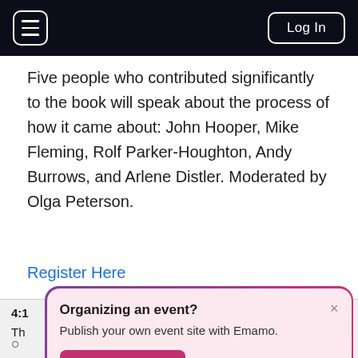Log In
Five people who contributed significantly to the book will speak about the process of how it came about: John Hooper, Mike Fleming, Rolf Parker-Houghton, Andy Burrows, and Arlene Distler. Moderated by Olga Peterson.
Register Here
[Figure (screenshot): Popup card with gradient border asking 'Organizing an event? Publish your own event site with Emamo.' and a 'Create Event' button. Close (×) button in top right.]